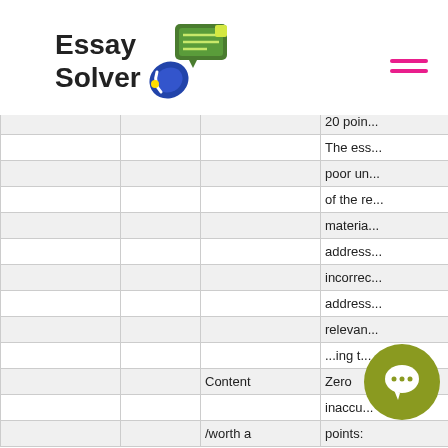Essay Solver
|  |  | Content | Zero |
| --- | --- | --- | --- |
|  |  |  | 20 poin... |
|  |  |  | The ess... |
|  |  |  | poor un... |
|  |  |  | of the re... |
|  |  |  | materia... |
|  |  |  | address... |
|  |  |  | incorrec... |
|  |  |  | address... |
|  |  |  | relevan... |
|  |  |  | ing t... |
|  |  | Content | Zero |
|  |  |  | inaccu... |
|  |  | /worth a | points: |